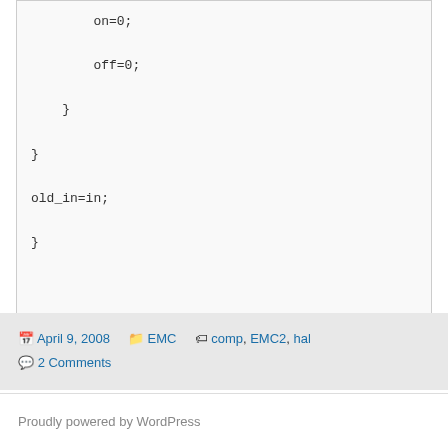on=0;

        off=0;

    }

}

old_in=in;

}
April 9, 2008  EMC  comp, EMC2, hal  2 Comments
Proudly powered by WordPress